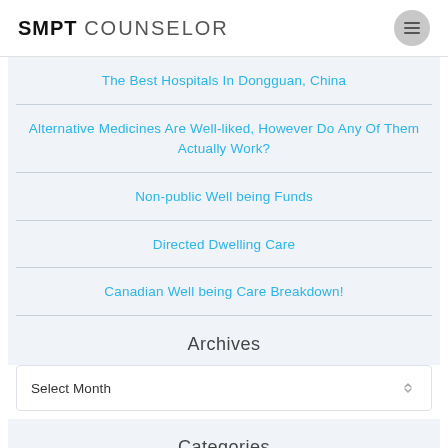SMPT COUNSELOR
The Best Hospitals In Dongguan, China
Alternative Medicines Are Well-liked, However Do Any Of Them Actually Work?
Non-public Well being Funds
Directed Dwelling Care
Canadian Well being Care Breakdown!
Archives
Select Month
Categories
Select Category